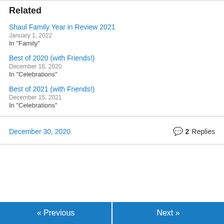Related
Shaul Family Year in Review 2021
January 1, 2022
In "Family"
Best of 2020 (with Friends!)
December 16, 2020
In "Celebrations"
Best of 2021 (with Friends!)
December 15, 2021
In "Celebrations"
December 30, 2020    💬 2 Replies
« Previous    Next »